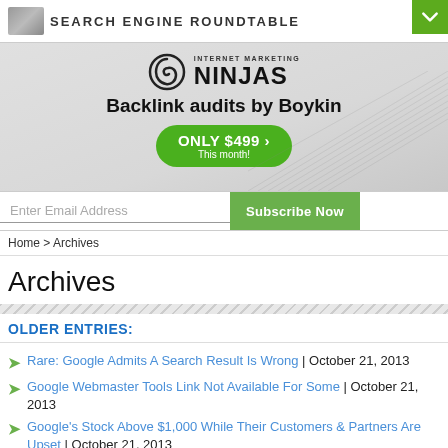SEARCH ENGINE ROUNDTABLE
[Figure (illustration): Internet Marketing Ninjas advertisement banner with swirl logo, 'Backlink audits by Boykin' text, and green 'ONLY $499 This month!' button]
Enter Email Address   Subscribe Now
Home > Archives
Archives
OLDER ENTRIES:
Rare: Google Admits A Search Result Is Wrong | October 21, 2013
Google Webmaster Tools Link Not Available For Some | October 21, 2013
Google's Stock Above $1,000 While Their Customers & Partners Are Upset | October 21, 2013
Google Security Guard Bear | October 21, 2013